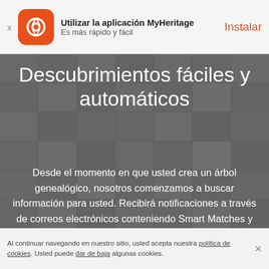Utilizar la aplicación MyHeritage — Es más rápido y fácil — Instalar
[Figure (screenshot): Background collage of historical photos, documents, and genealogy records shown in a grid layout with grey overlay]
Descubrimientos fáciles y automáticos
Desde el momento en que usted crea un árbol genealógico, nosotros comenzamos a buscar información para usted. Recibirá notificaciones a través de correos electrónicos conteniendo Smart Matches y Record Matches que le revelarán nuevas conexiones a su árbol genealógico, registros y artículos de periódicos sobre sus antepasados.
Al continuar navegando en nuestro sitio, usted acepta nuestra política de cookies. Usted puede dar de baja algunas cookies.